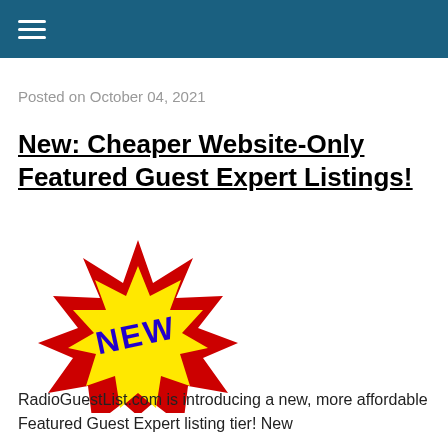Posted on October 04, 2021
New: Cheaper Website-Only Featured Guest Expert Listings!
[Figure (illustration): A starburst badge with red outer spikes and a yellow inner starburst shape, with the word NEW in bold blue text in the center.]
RadioGuestList.com is introducing a new, more affordable Featured Guest Expert listing tier! New